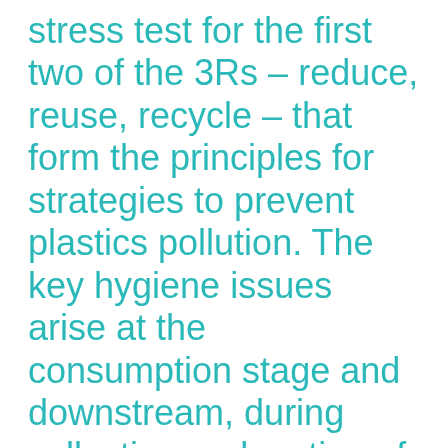stress test for the first two of the 3Rs – reduce, reuse, recycle – that form the principles for strategies to prevent plastics pollution. The key hygiene issues arise at the consumption stage and downstream, during collection and sorting of plastic waste before recycling.
As COVID-19 hits, it seems to be shifting the tide toward single-use plastics. ◻ Supply chains are being strained to meet a surge in demand for single-use packaging, and recycling is declining. Some observers say...